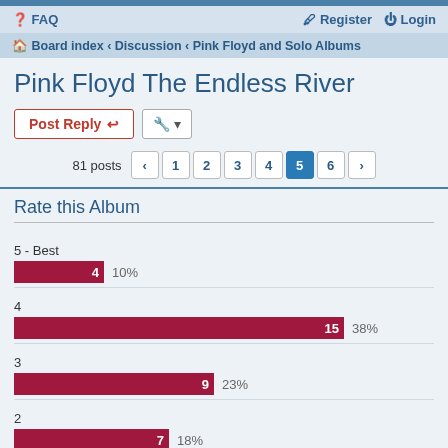FAQ | Register | Login
Board index › Discussion › Pink Floyd and Solo Albums
Pink Floyd The Endless River
Post Reply | Tools
81 posts  1 2 3 4 5 6 >
Rate this Album
[Figure (bar-chart): Rate this Album]